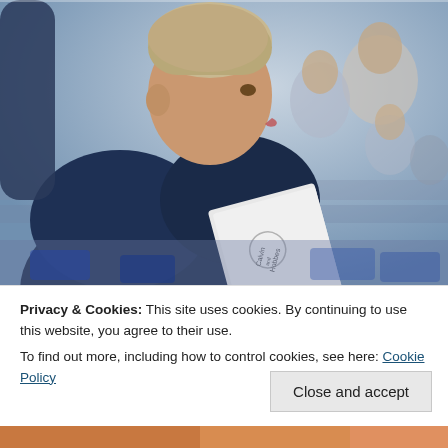[Figure (photo): A young boy in a dark blue hoodie sitting in stadium seats, holding a Calvin and Hobbes book, looking to the right. Other spectators are visible in the blurred background.]
Privacy & Cookies: This site uses cookies. By continuing to use this website, you agree to their use.
To find out more, including how to control cookies, see here: Cookie Policy
Close and accept
[Figure (photo): Partial view of another photo at the bottom of the page, showing warm orange/brown tones.]